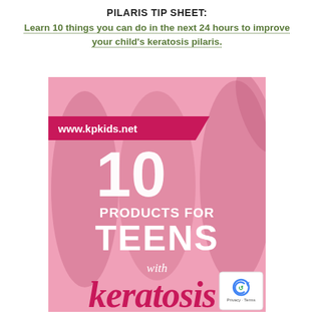PILARIS TIP SHEET:
Learn 10 things you can do in the next 24 hours to improve your child's keratosis pilaris.
[Figure (illustration): Book cover image on pink background showing teen girls. Large white '10' at top, 'PRODUCTS FOR TEENS' in white bold text, 'with' in white italic, 'keratosis' in hot pink cursive. A magenta banner reads 'www.kpkids.net'. Lower right corner has a reCAPTCHA logo badge with 'Privacy · Terms'.]